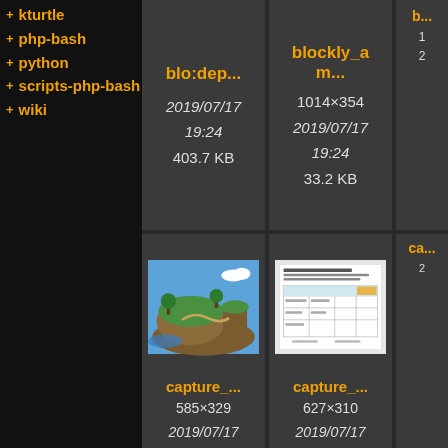+ kturtle
+ php-bash
+ python
+ scripts-php-bash
+ wiki
[Figure (screenshot): File card: blo:dep... — 2019/07/17 19:24, 403.7 KB]
[Figure (screenshot): File card: blockly_am... — 1014×354, 2019/07/17 19:24, 33.2 KB]
[Figure (screenshot): Partial file card on right edge]
[Figure (screenshot): File card: capture_... — island game screenshot, 585×329, 2019/07/17 19:24, 216.5 KB]
[Figure (screenshot): File card: capture_... — table/document screenshot, 627×310, 2019/07/17 19:24, 26.4 KB]
[Figure (screenshot): Partial file card on right edge]
[Figure (screenshot): File card: capture_... — underwater grid game screenshot]
[Figure (screenshot): File card: capture_... — IDE/editor screenshot]
[Figure (screenshot): Partial file card on right edge]